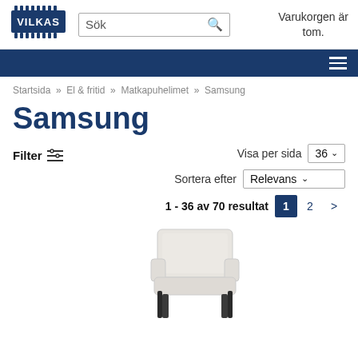[Figure (logo): Vilkas logo — navy blue badge with text VILKAS and decorative pin/nail border top and bottom]
Sök
Varukorgen är tom.
Startsida » El & fritid » Matkapuhelimet » Samsung
Samsung
Filter
Visa per sida  36
Sortera efter  Relevans
1 - 36 av 70 resultat   1  2  >
[Figure (photo): A white upholstered armchair with dark wooden legs, viewed slightly from the front]